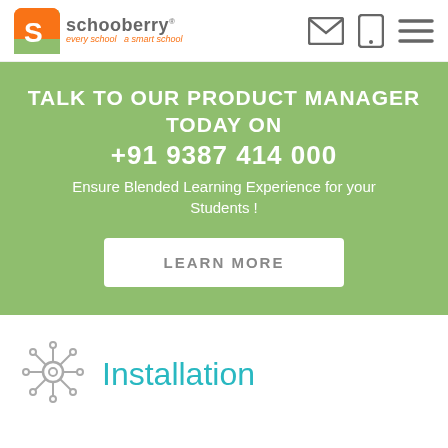[Figure (logo): Schooberry logo with orange and green S icon, text 'schooberry' and tagline 'every school a smart school', plus envelope, phone and menu icons on the right]
TALK TO OUR PRODUCT MANAGER TODAY ON +91 9387 414 000
Ensure Blended Learning Experience for your Students !
LEARN MORE
Installation